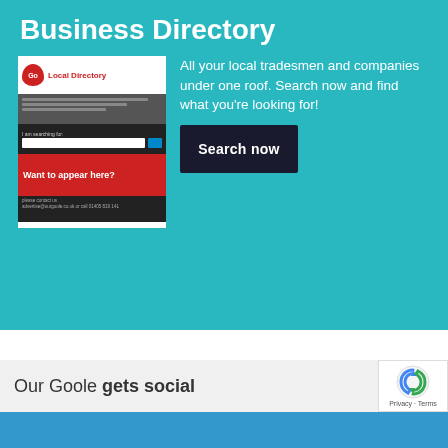Business Directory
[Figure (screenshot): Screenshot of a Local Directory webpage showing red banner 'Want to appear here?' with contact info and search field]
All your local tradesmen and companies under one roof. Search now and find what you're looking for!
Search now
Our Goole gets social
[Figure (logo): reCAPTCHA badge with Privacy - Terms label]